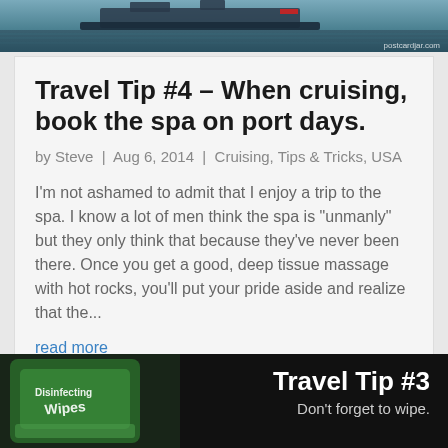[Figure (photo): Top image showing a cruise ship on water, with postscardjar.com watermark in bottom right corner]
Travel Tip #4 – When cruising, book the spa on port days.
by Steve | Aug 6, 2014 | Cruising, Tips & Tricks, USA
I'm not ashamed to admit that I enjoy a trip to the spa. I know a lot of men think the spa is "unmanly" but they only think that because they've never been there. Once you get a good, deep tissue massage with hot rocks, you'll put your pride aside and realize that the...
read more
[Figure (photo): Bottom image showing disinfecting wipes (Clorox-style green packaging) on dark background with text 'Travel Tip #3 Don't forget to wipe.']